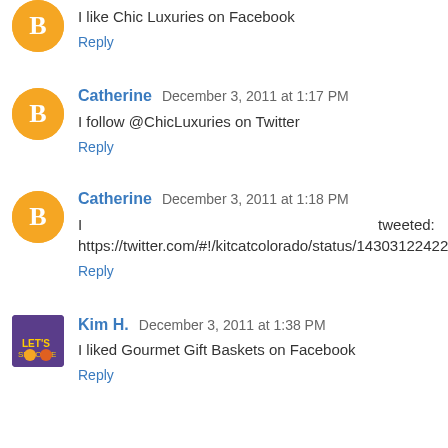I like Chic Luxuries on Facebook
Reply
Catherine  December 3, 2011 at 1:17 PM
I follow @ChicLuxuries on Twitter
Reply
Catherine  December 3, 2011 at 1:18 PM
I tweeted: https://twitter.com/#!/kitcatcolorado/status/143031224229826560
Reply
Kim H.  December 3, 2011 at 1:38 PM
I liked Gourmet Gift Baskets on Facebook
Reply